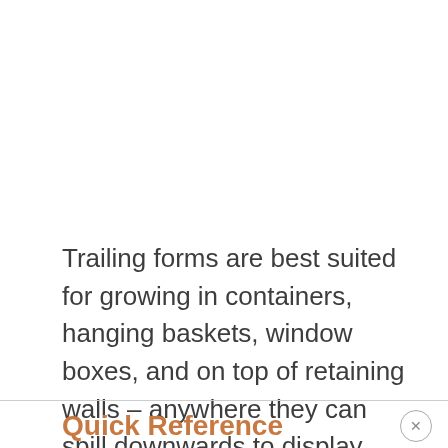Trailing forms are best suited for growing in containers, hanging baskets, window boxes, and on top of retaining walls – anywhere they can spill downwards to display their graceful, brilliant cascades.
Quick Reference Growing